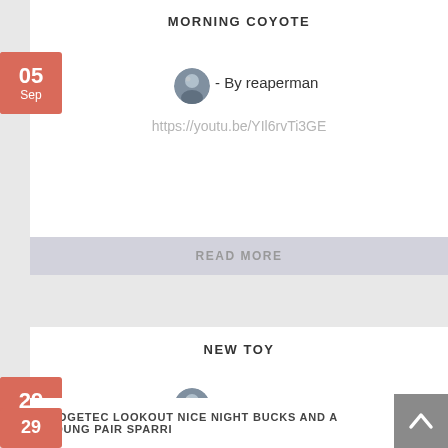MORNING COYOTE
- By reaperman
https://youtu.be/YIl6rvTi3GE
READ MORE
NEW TOY
- By reaperman
That's pretty cool! 8) Did you try to set it and[...]
READ MORE
RIDGETEC LOOKOUT NICE NIGHT BUCKS AND A YOUNG PAIR SPARRI